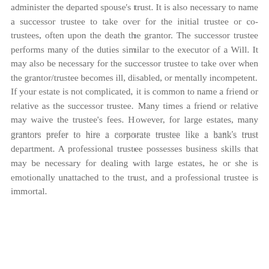administer the departed spouse's trust. It is also necessary to name a successor trustee to take over for the initial trustee or co-trustees, often upon the death the grantor. The successor trustee performs many of the duties similar to the executor of a Will. It may also be necessary for the successor trustee to take over when the grantor/trustee becomes ill, disabled, or mentally incompetent. If your estate is not complicated, it is common to name a friend or relative as the successor trustee. Many times a friend or relative may waive the trustee's fees. However, for large estates, many grantors prefer to hire a corporate trustee like a bank's trust department. A professional trustee possesses business skills that may be necessary for dealing with large estates, he or she is emotionally unattached to the trust, and a professional trustee is immortal.